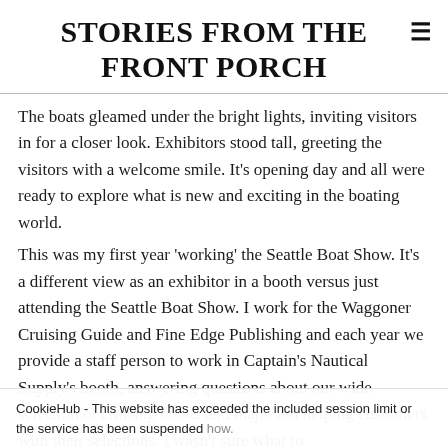STORIES FROM THE FRONT PORCH
The boats gleamed under the bright lights, inviting visitors in for a closer look. Exhibitors stood tall, greeting the visitors with a welcome smile. It's opening day and all were ready to explore what is new and exciting in the boating world.
This was my first year 'working' the Seattle Boat Show. It's a different view as an exhibitor in a booth versus just attending the Seattle Boat Show. I work for the Waggoner Cruising Guide and Fine Edge Publishing and each year we provide a staff person to work in Captain's Nautical Supply's booth, answering questions about our wide selection of cruising books and maps and helping customers with their selections. I wasn't sure what to
CookieHub - This website has exceeded the included session limit or the service has been suspended